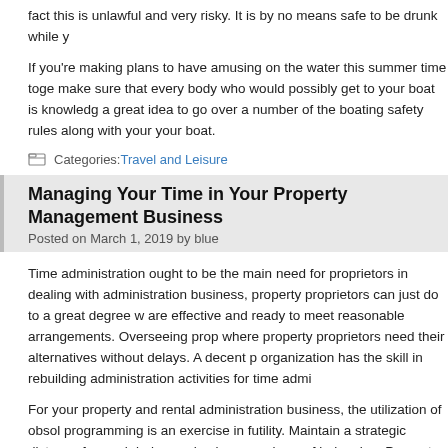fact this is unlawful and very risky. It is by no means safe to be drunk while y
If you're making plans to have amusing on the water this summer time toge make sure that every body who would possibly get to your boat is knowledg a great idea to go over a number of the boating safety rules along with your your boat.
Categories: Travel and Leisure
Managing Your Time in Your Property Management Business
Posted on March 1, 2019 by blue
Time administration ought to be the main need for proprietors in dealing with administration business, property proprietors can just do to a great degree w are effective and ready to meet reasonable arrangements. Overseeing prop where property proprietors need their alternatives without delays. A decent p organization has the skill in rebuilding administration activities for time admi
For your property and rental administration business, the utilization of obsol programming is an exercise in futility. Maintain a strategic distance from reh balance checks or rundown of belonging. Present day property and rental a the property and rental administration activities. While the utilization of